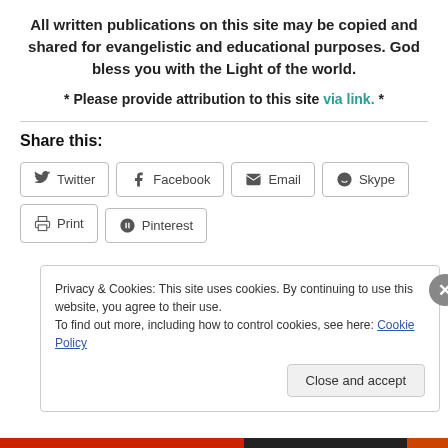All written publications on this site may be copied and shared for evangelistic and educational purposes. God bless you with the Light of the world.
* Please provide attribution to this site via link. *
Share this:
Twitter  Facebook  Email  Skype  Print  Pinterest
Privacy & Cookies: This site uses cookies. By continuing to use this website, you agree to their use. To find out more, including how to control cookies, see here: Cookie Policy
Close and accept